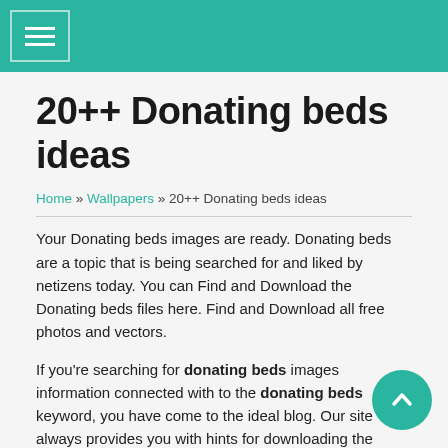Navigation header bar with hamburger menu icon
20++ Donating beds ideas
Home » Wallpapers » 20++ Donating beds ideas
Your Donating beds images are ready. Donating beds are a topic that is being searched for and liked by netizens today. You can Find and Download the Donating beds files here. Find and Download all free photos and vectors.
If you're searching for donating beds images information connected with to the donating beds keyword, you have come to the ideal blog. Our site always provides you with hints for downloading the highest quality video and image content, please kindly hunt and find more enlightening video articles and graphics that match your interests.